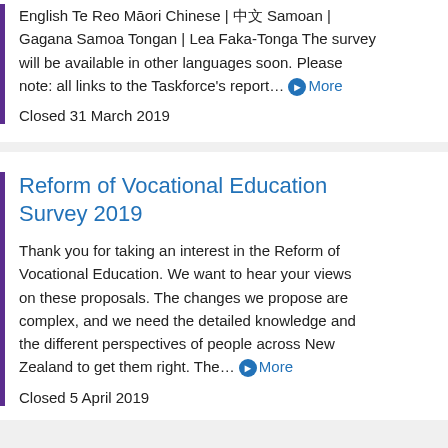English Te Reo Māori Chinese | 中文 Samoan | Gagana Samoa Tongan | Lea Faka-Tonga The survey will be available in other languages soon. Please note: all links to the Taskforce's report... More
Closed 31 March 2019
Reform of Vocational Education Survey 2019
Thank you for taking an interest in the Reform of Vocational Education. We want to hear your views on these proposals. The changes we propose are complex, and we need the detailed knowledge and the different perspectives of people across New Zealand to get them right. The... More
Closed 5 April 2019